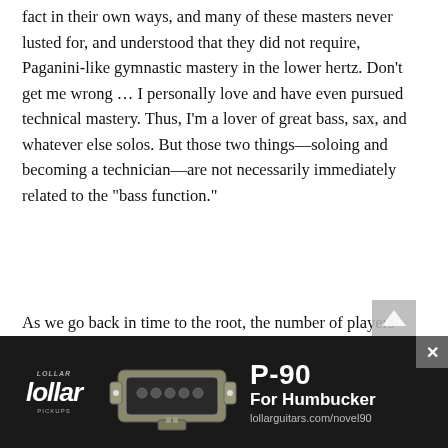fact in their own ways, and many of these masters never lusted for, and understood that they did not require, Paganini-like gymnastic mastery in the lower hertz. Don't get me wrong … I personally love and have even pursued technical mastery. Thus, I'm a lover of great bass, sax, and whatever else solos. But those two things—soloing and becoming a technician—are not necessarily immediately related to the "bass function."
As we go back in time to the root, the number of players who focused on function over flashy technique, and support over soloing seems to increase. I soon learned there was more to bass than slapping. (I also learned that slapping—though not quite at the speed of light—went back decades before Mark King.) I had no idea of the long and st... African... es, jazz, g... p, house, and a seemingly never-ending procession of
[Figure (infographic): Advertisement for Lollar Pickups P-90 For Humbucker. Dark background with Lollar Pickups logo on left, photo of P-90 pickup in center, and text 'P-90 For Humbucker lollarguitars.com/novel90' on right.]